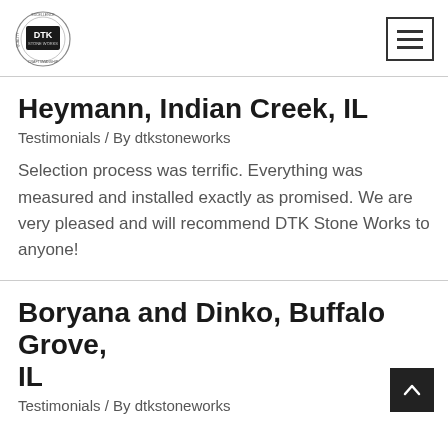DTK Stone Works logo and navigation menu
Heymann, Indian Creek, IL
Testimonials / By dtkstoneworks
Selection process was terrific. Everything was measured and installed exactly as promised. We are very pleased and will recommend DTK Stone Works to anyone!
Boryana and Dinko, Buffalo Grove, IL
Testimonials / By dtkstoneworks